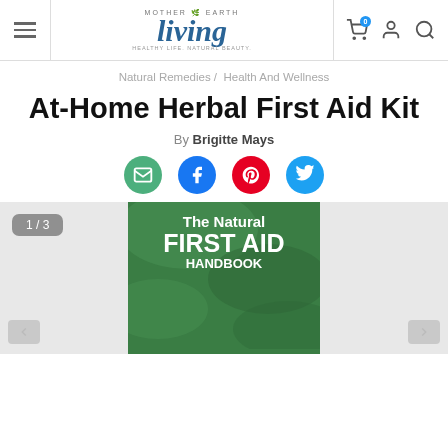Mother Earth Living — Natural Remedies / Health And Wellness
At-Home Herbal First Aid Kit
By Brigitte Mays
[Figure (screenshot): Book cover: The Natural First Aid Handbook, shown as image 1 of 3 in a slideshow with left and right navigation arrows.]